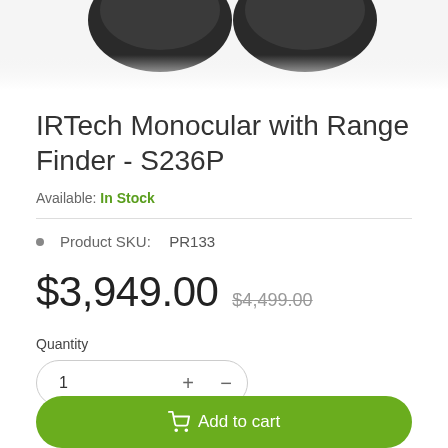[Figure (photo): Partial view of IRTech Monocular product - two dark lens elements visible at top of page]
IRTech Monocular with Range Finder - S236P
Available: In Stock
Product SKU:  PR133
$3,949.00  $4,499.00
Quantity
1
Add to cart